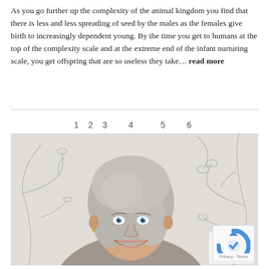As you go further up the complexity of the animal kingdom you find that there is less and less spreading of seed by the males as the females give birth to increasingly dependent young. By the time you get to humans at the top of the complexity scale and at the extreme end of the infant nurturing scale, you get offspring that are so useless they take… read more
1  2  3    4     5    6
[Figure (photo): A smiling woman with short silver-blonde hair in front of a floral wallpaper with drawn branches and flowers in black and white]